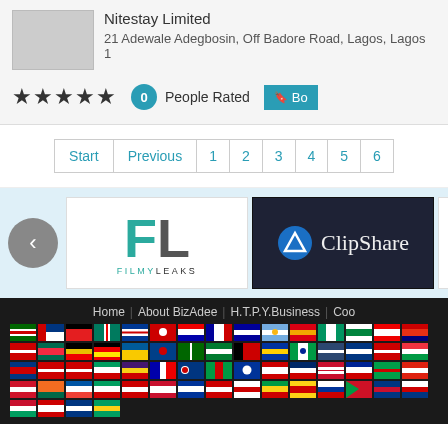Nitestay Limited
21 Adewale Adegbosin, Off Badore Road, Lagos, Lagos 1
★★★★★  0 People Rated  Bo...
Start  Previous  1  2  3  4  5  6
[Figure (logo): FilmyLeaks logo with teal F and grey L letters]
[Figure (logo): ClipShare logo with dark background, blue shield icon]
[Figure (logo): Wob... logo partially visible]
Home | About BizAdee | H.T.P.Y.Business | Coo...
[Figure (infographic): Grid of country flag icons in footer]